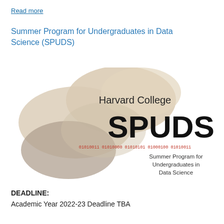Read more
Summer Program for Undergraduates in Data Science (SPUDS)
[Figure (logo): Harvard College SPUDS logo featuring overlapping organic blob shapes in muted tan, beige, and brown/gray tones, with text 'Harvard College' above large bold 'SPUDS', a red binary code line '01010011 01010000 01010101 01000100 01010011', and below 'Summer Program for Undergraduates in Data Science'.]
DEADLINE:
Academic Year 2022-23 Deadline TBA